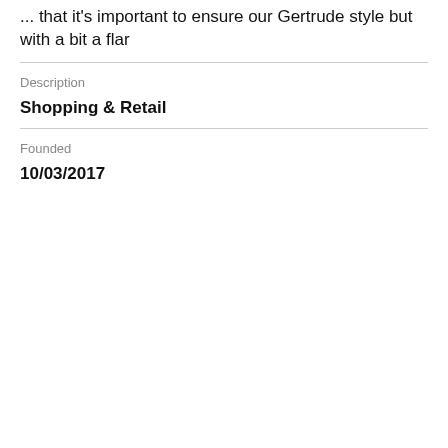... that it's important to ensure our Gertrude style but with a bit a flar
Description
Shopping & Retail
Founded
10/03/2017